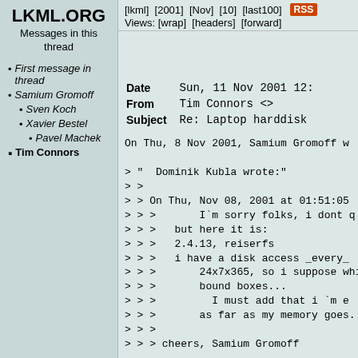LKML.ORG
Messages in this thread
First message in thread
Samium Gromoff
Sven Koch
Xavier Bestel
Pavel Machek
Tim Connors
[lkml]  [2001]  [Nov]  [10]  [last100]  RSS
Views: [wrap]  [headers]  [forward]
Date	Sun, 11 Nov 2001 12:
From	Tim Connors <>
Subject	Re: Laptop harddisk
On Thu, 8 Nov 2001, Samium Gromoff w

> "  Dominik Kubla wrote:"
> >
> > On Thu, Nov 08, 2001 at 01:51:05
> > >       I`m sorry folks, i dont q
> > >   but here it is:
> > >   2.4.13, reiserfs
> > >   i have a disk access _every_
> > >       24x7x365, so i suppose whi
> > >       bound boxes...
> > >         I must add that i `m e
> > >       as far as my memory goes..
> > >
> > > cheers, Samium Gromoff